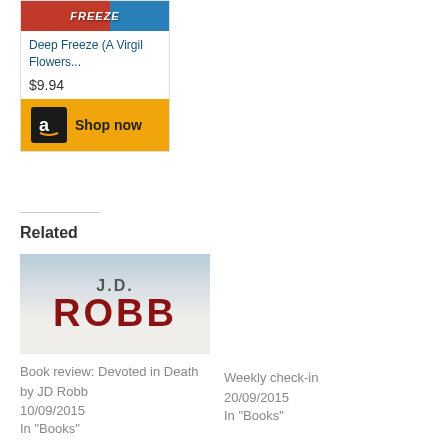[Figure (other): Amazon product card for 'Deep Freeze (A Virgil Flowers...' priced at $9.94 with Shop now button]
Related
[Figure (photo): Book cover image showing J.D. Robb in large red letters on light background]
Book review: Devoted in Death by JD Robb
10/09/2015
In "Books"
Weekly check-in
20/09/2015
In "Books"